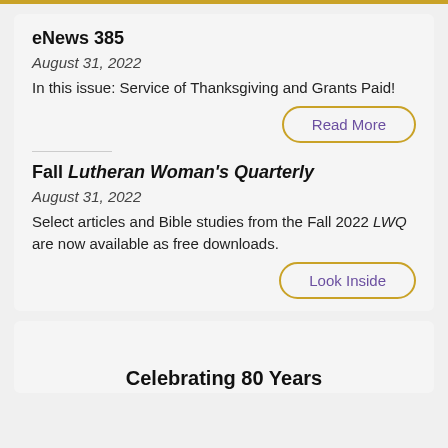eNews 385
August 31, 2022
In this issue: Service of Thanksgiving and Grants Paid!
Fall Lutheran Woman's Quarterly
August 31, 2022
Select articles and Bible studies from the Fall 2022 LWQ are now available as free downloads.
Celebrating 80 Years